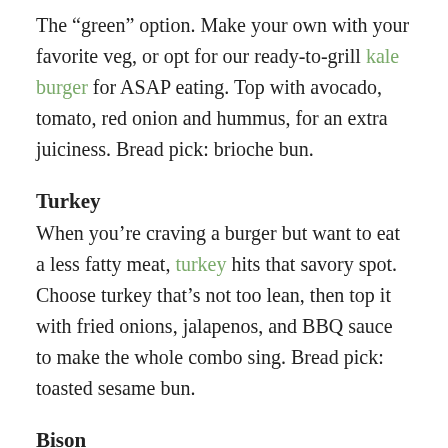The "green" option. Make your own with your favorite veg, or opt for our ready-to-grill kale burger for ASAP eating. Top with avocado, tomato, red onion and hummus, for an extra juiciness. Bread pick: brioche bun.
Turkey
When you’re craving a burger but want to eat a less fatty meat, turkey hits that savory spot. Choose turkey that’s not too lean, then top it with fried onions, jalapenos, and BBQ sauce to make the whole combo sing. Bread pick: toasted sesame bun.
Bison
Did you know? Bison is higher in protein and lower in